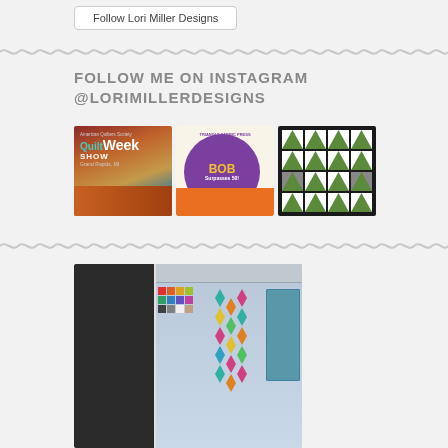Follow Lori Miller Designs
FOLLOW ME ON INSTAGRAM
@LORIMILLERDESIGNS
[Figure (photo): Three Instagram photos: 1) American Quilters Society QuiltWeek Show Grand Rapids MI sign, 2) BOB Surpasses 50! promo graphic with purple circle and orange background, 3) Flying geese quilt pattern blocks in green and white on dark background]
[Figure (screenshot): Partial view of a dark image on the left and a quilt design software screenshot showing a colorful geometric diamond/argyle pattern in teal, yellow, pink, and blue on the right]